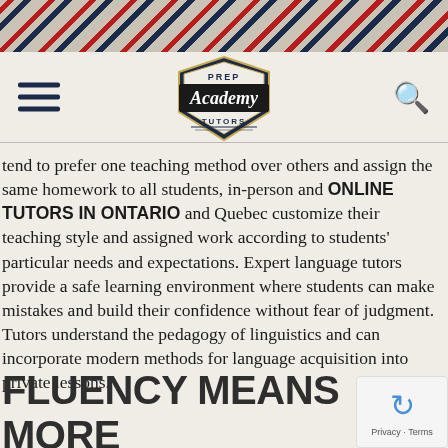[Figure (illustration): Diagonal stripe decorative header bar with navy, red, and beige stripes]
Prep Academy Tutors logo with hamburger menu and search icon
tend to prefer one teaching method over others and assign the same homework to all students, in-person and ONLINE TUTORS IN ONTARIO and Quebec customize their teaching style and assigned work according to students' particular needs and expectations. Expert language tutors provide a safe learning environment where students can make mistakes and build their confidence without fear of judgment. Tutors understand the pedagogy of linguistics and can incorporate modern methods for language acquisition into private lessons.
FLUENCY MEANS MORE THAN ACADEMIC SUCC…